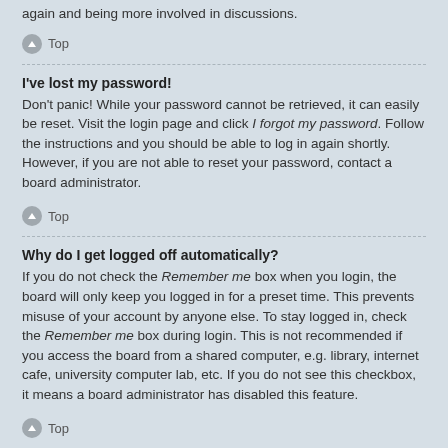again and being more involved in discussions.
Top
I've lost my password!
Don't panic! While your password cannot be retrieved, it can easily be reset. Visit the login page and click I forgot my password. Follow the instructions and you should be able to log in again shortly.
However, if you are not able to reset your password, contact a board administrator.
Top
Why do I get logged off automatically?
If you do not check the Remember me box when you login, the board will only keep you logged in for a preset time. This prevents misuse of your account by anyone else. To stay logged in, check the Remember me box during login. This is not recommended if you access the board from a shared computer, e.g. library, internet cafe, university computer lab, etc. If you do not see this checkbox, it means a board administrator has disabled this feature.
Top
What does the “Delete cookies” do?
“Delete cookies” deletes the cookies created by phpBB which keep you authenticated and logged into the board. Cookies also provide functions such as